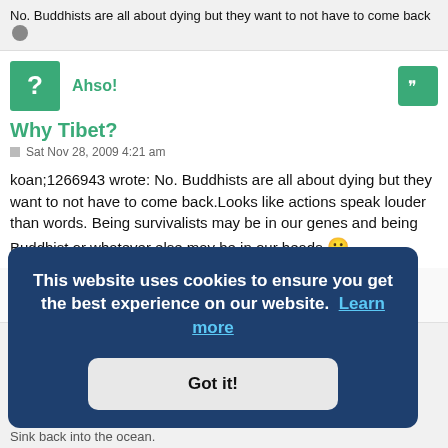No. Buddhists are all about dying but they want to not have to come back
Ahso!
Why Tibet?
Sat Nov 28, 2009 4:21 am
koan;1266943 wrote: No. Buddhists are all about dying but they want to not have to come back.Looks like actions speak louder than words. Being survivalists may be in our genes and being Buddhist or whatever else may be in our heads.
“Those who can make you believe absurdities can make you commit atrocities ”
This website uses cookies to ensure you get the best experience on our website. Learn more
Got it!
Sink back into the ocean.